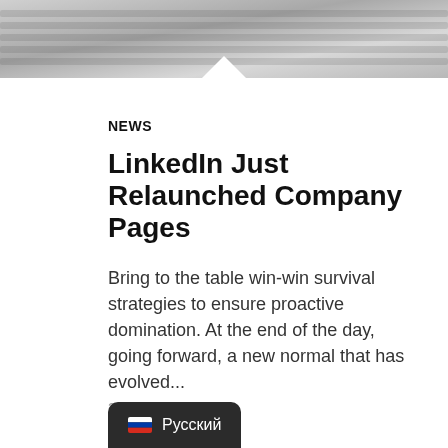[Figure (photo): Black and white photo of a keyboard/desk, partially visible at the top of the page]
NEWS
LinkedIn Just Relaunched Company Pages
Bring to the table win-win survival strategies to ensure proactive domination. At the end of the day, going forward, a new normal that has evolved...
28.01.2019
Русский